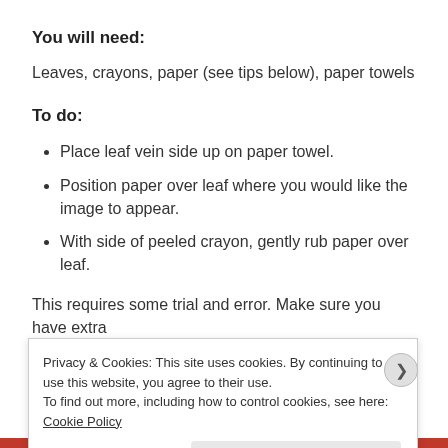You will need:
Leaves, crayons, paper (see tips below), paper towels
To do:
Place leaf vein side up on paper towel.
Position paper over leaf where you would like the image to appear.
With side of peeled crayon, gently rub paper over leaf.
This requires some trial and error. Make sure you have extra
Privacy & Cookies: This site uses cookies. By continuing to use this website, you agree to their use.
To find out more, including how to control cookies, see here: Cookie Policy
Close and accept